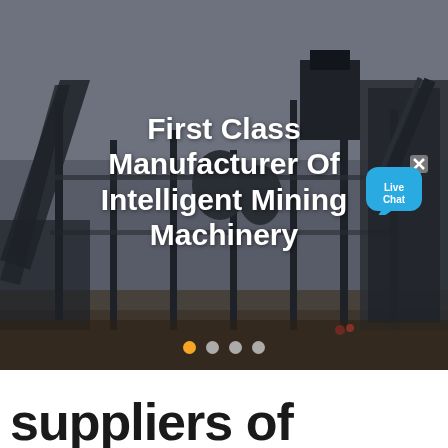[Figure (photo): Industrial mining machinery facility with steel structure conveyor belts and equipment under overcast sky. Text overlay reads 'First Class Manufacturer Of Intelligent Mining Machinery'. Live Chat badge visible top right. Slideshow dots at bottom.]
suppliers of